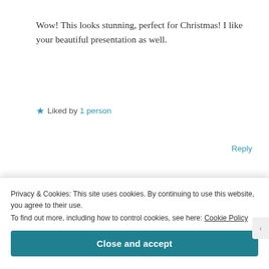Wow! This looks stunning, perfect for Christmas! I like your beautiful presentation as well.
★ Liked by 1 person
Reply
libarah
December 23, 2018 at 3:47 pm
[Figure (photo): User avatar thumbnail showing a heart design]
Privacy & Cookies: This site uses cookies. By continuing to use this website, you agree to their use. To find out more, including how to control cookies, see here: Cookie Policy
Close and accept